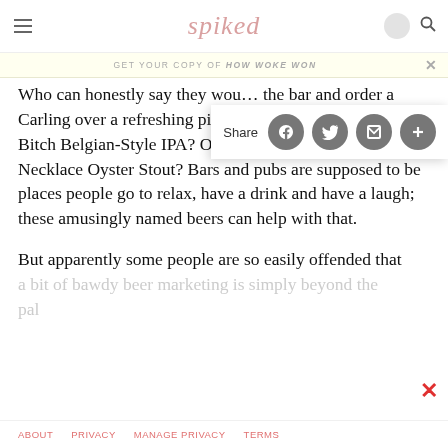spiked
GET YOUR COPY OF HOW WOKE WON
Who can honestly say they wou… the bar and order a Carling over a refreshing pint of Flying Dog's Raging Bitch Belgian-Style IPA? Or maybe you'd prefer a Pearl Necklace Oyster Stout? Bars and pubs are supposed to be places people go to relax, have a drink and have a laugh; these amusingly named beers can help with that.
But apparently some people are so easily offended that a bit of bawdy beer marketing is simply beyond the…
ABOUT   PRIVACY   MANAGE PRIVACY   TERMS